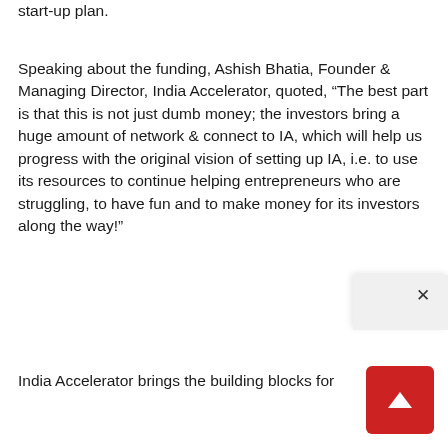start-up plan.
Speaking about the funding, Ashish Bhatia, Founder & Managing Director, India Accelerator, quoted, “The best part is that this is not just dumb money; the investors bring a huge amount of network & connect to IA, which will help us progress with the original vision of setting up IA, i.e. to use its resources to continue helping entrepreneurs who are struggling, to have fun and to make money for its investors along the way!”
India Accelerator brings the building blocks for